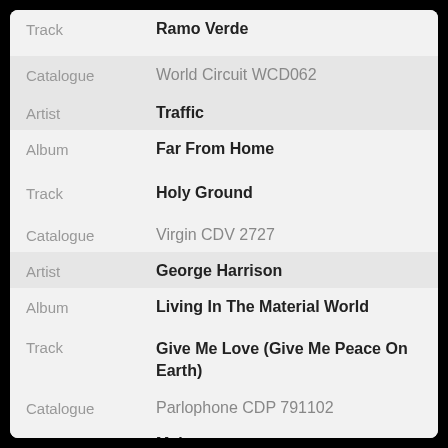| Field | Value |
| --- | --- |
| Track | Ramo Verde |
| Catalogue | World Circuit WCD062 |
| Artist | Traffic |
| Album | Far From Home |
| Track | Holy Ground |
| Catalogue | Virgin CDV 2727 |
| Artist | George Harrison |
| Album | Living In The Material World |
| Track | Give Me Love (Give Me Peace On Earth) |
| Catalogue | Parlophone CDP 791102 |
| Artist | Main page |
| Album/Catalogue | 4717 |